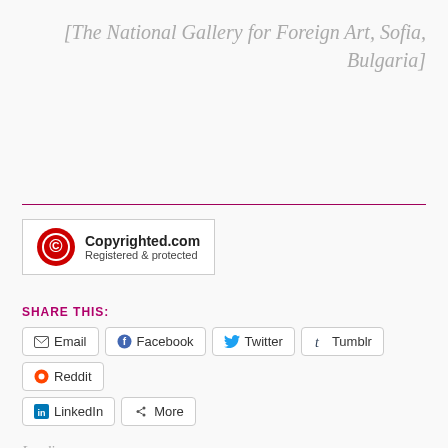[The National Gallery for Foreign Art, Sofia, Bulgaria]
[Figure (logo): Copyrighted.com Registered & protected badge with red copyright circle icon]
SHARE THIS:
Email  Facebook  Twitter  Tumblr  Reddit  LinkedIn  More
Loading...